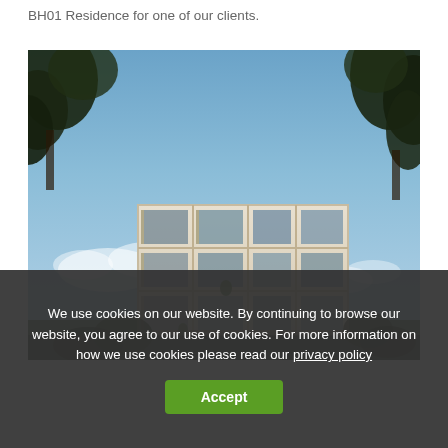BH01 Residence for one of our clients.
[Figure (photo): Architectural rendering of BH01 Residence: a modern multi-story residential building with white geometric facade, balconies, large glass windows, set among trees under a blue sky.]
We use cookies on our website. By continuing to browse our website, you agree to our use of cookies. For more information on how we use cookies please read our privacy policy
Accept